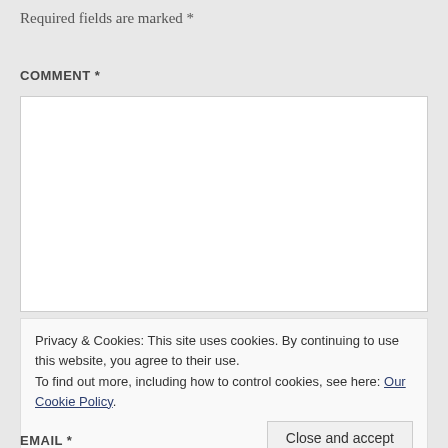Required fields are marked *
COMMENT *
[Figure (screenshot): Empty white comment text area input box with a thin border]
Privacy & Cookies: This site uses cookies. By continuing to use this website, you agree to their use.
To find out more, including how to control cookies, see here: Our Cookie Policy.
Close and accept
EMAIL *